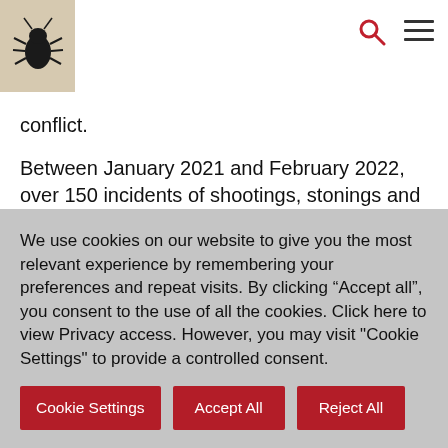[Figure (logo): Black beetle/bug logo on tan/beige background square, with red search icon and hamburger menu icon in top right]
conflict.
Between January 2021 and February 2022, over 150 incidents of shootings, stonings and other acts of violence and intimidation directed at bus drivers and passengers were reported to South African Police Service (SAPS) in the three provinces. Bus operators claim that police inaction has led to further bloodshed.
We use cookies on our website to give you the most relevant experience by remembering your preferences and repeat visits. By clicking “Accept all”, you consent to the use of all the cookies. Click here to view Privacy access. However, you may visit "Cookie Settings" to provide a controlled consent.